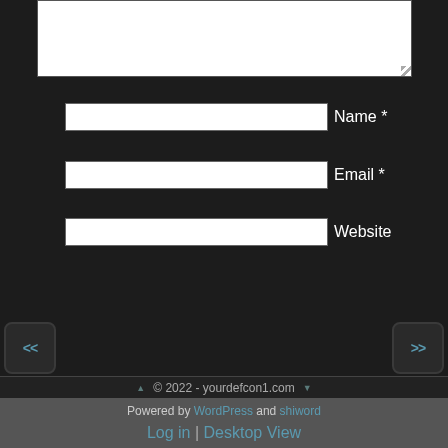[Figure (screenshot): White textarea input box at top of form]
Name *
Email *
Website
Say It!
<<
>>
© 2022 - yourdefcon1.com
Powered by WordPress and shiword
Log in | Desktop View